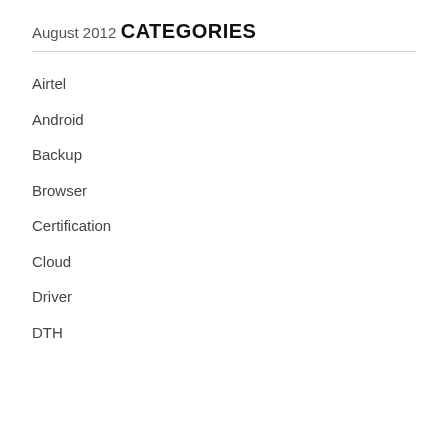August 2012
CATEGORIES
Airtel
Android
Backup
Browser
Certification
Cloud
Driver
DTH